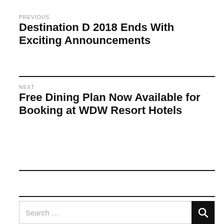PREVIOUS
Destination D 2018 Ends With Exciting Announcements
NEXT
Free Dining Plan Now Available for Booking at WDW Resort Hotels